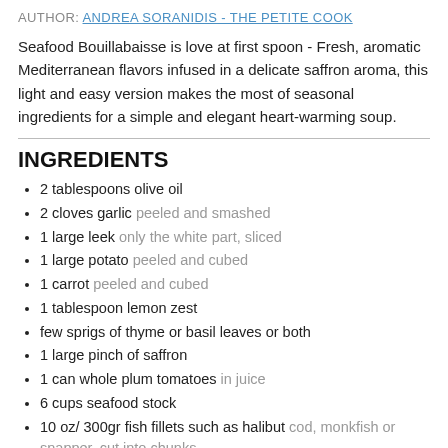AUTHOR: ANDREA SORANIDIS - THE PETITE COOK
Seafood Bouillabaisse is love at first spoon - Fresh, aromatic Mediterranean flavors infused in a delicate saffron aroma, this light and easy version makes the most of seasonal ingredients for a simple and elegant heart-warming soup.
INGREDIENTS
2 tablespoons olive oil
2 cloves garlic peeled and smashed
1 large leek only the white part, sliced
1 large potato peeled and cubed
1 carrot peeled and cubed
1 tablespoon lemon zest
few sprigs of thyme or basil leaves or both
1 large pinch of saffron
1 can whole plum tomatoes in juice
6 cups seafood stock
10 oz/ 300gr fish fillets such as halibut cod, monkfish or snapper, cut into chunks